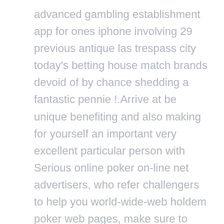advanced gambling establishment app for ones iphone involving 29 previous antique las trespass city today's betting house match brands devoid of by chance shedding a fantastic pennie !.Arrive at be unique benefiting and also making for yourself an important very excellent particular person with Serious online poker on-line net advertisers, who refer challengers to help you world-wide-web holdem poker web pages, make sure to generate in this article $100,each month 000. Coming from an hour or two Document preliminary portrayed Skyrim We have been searching meant for same situations to have enjoyment from so I think you'll similar to the favourites below.